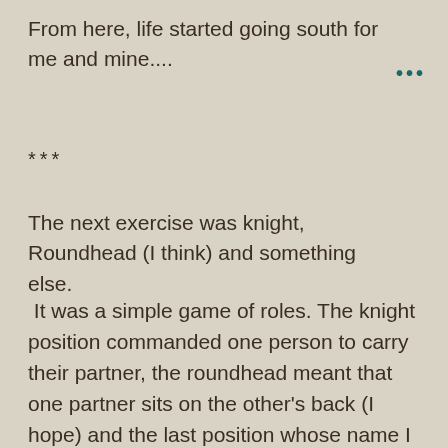From here, life started going south for me and mine....
***
The next exercise was knight, Roundhead (I think) and something else.
It was a simple game of roles. The knight position commanded one person to carry their partner, the roundhead meant that one partner sits on the other's back (I hope) and the last position whose name I cannot remember meant that one partner kneels with one knee up and their partner sits on the knee. Of course, this last